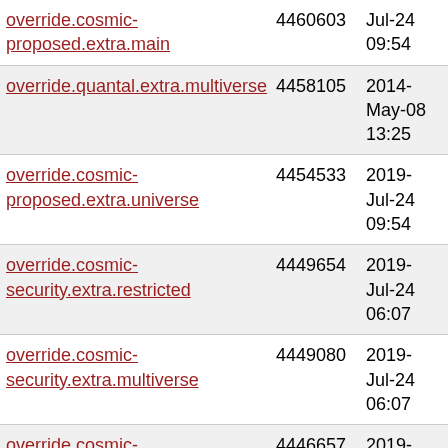| Name | Size | Date |
| --- | --- | --- |
| override.cosmic-proposed.extra.main | 4460603 | Jul-24
09:54 |
| override.quantal.extra.multiverse | 4458105 | 2014-May-08
13:25 |
| override.cosmic-proposed.extra.universe | 4454533 | 2019-Jul-24
09:54 |
| override.cosmic-security.extra.restricted | 4449654 | 2019-Jul-24
06:07 |
| override.cosmic-security.extra.multiverse | 4449080 | 2019-Jul-24
06:07 |
| override.cosmic-updates.extra.restricted | 4446657 | 2019-Jul-24
08:43 |
| override.cosmic-updates.extra.multiverse | 4446083 | 2019-Jul-24
08:43 |
| override.cosmic-proposed.extra.multiverse | 4444887 | 2019-Jul-24
09:54 |
| ... | ... | 2021- |